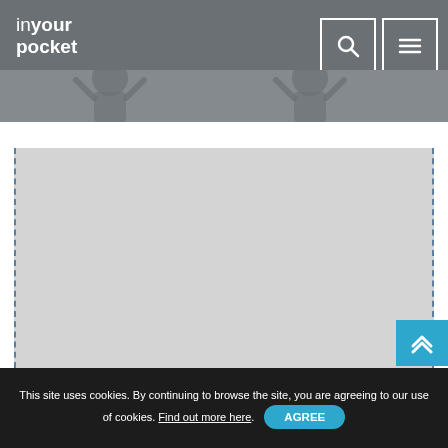inyour pocket
[Figure (photo): Website screenshot of 'In Your Pocket' travel guide site. Header shows logo 'inyour pocket' in white on grey background. Two navigation icons (search magnifying glass, hamburger menu) top right. Below header is a photo strip with silhouetted figures with arms raised. Main content area is a large light grey placeholder rectangle with dashed blue borders on left and right. A blue scroll-to-top arrow button appears bottom right.]
This site uses cookies. By continuing to browse the site, you are agreeing to our use of cookies. Find out more here.
AGREE